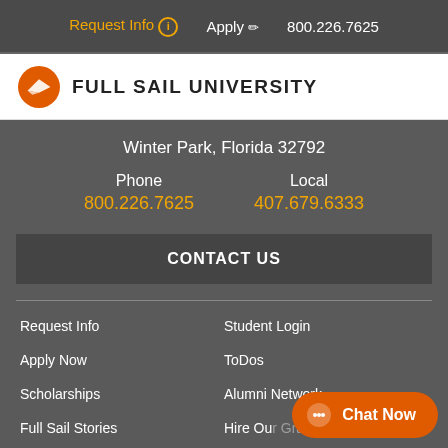Request Info  Apply  800.226.7625
[Figure (logo): Full Sail University logo — orange circle with white plane silhouette, followed by FULL SAIL UNIVERSITY text in bold caps]
Winter Park, Florida 32792
Phone
800.226.7625
Local
407.679.6333
CONTACT US
Request Info
Student Login
Apply Now
ToDos
Scholarships
Alumni Network
Full Sail Stories
Hire Our Grads
Campus Gallery
Careers at Full Sail